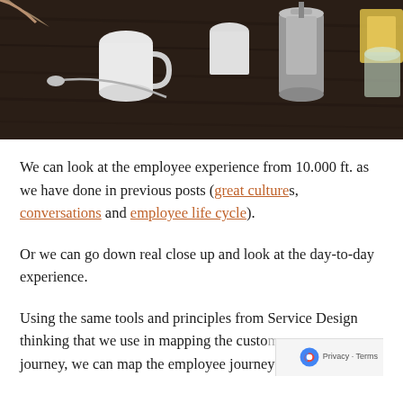[Figure (photo): Photo of a dark wooden table surface with white ceramic cups, a spoon, and a stainless steel French press or coffee maker, taken from above at an angle. Hands partially visible.]
We can look at the employee experience from 10.000 ft. as we have done in previous posts (great cultures, conversations and employee life cycle).
Or we can go down real close up and look at the day-to-day experience.
Using the same tools and principles from Service Design thinking that we use in mapping the customer journey, we can map the employee journey over the...